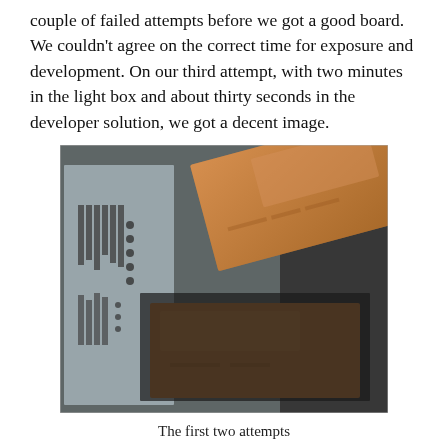couple of failed attempts before we got a good board. We couldn't agree on the correct time for exposure and development. On our third attempt, with two minutes in the light box and about thirty seconds in the developer solution, we got a decent image.
[Figure (photo): Photo showing PCB etching materials on a dark surface: two copper-clad boards (one tilted, one horizontal) and a transparency/film with circuit traces visible on the left side.]
The first two attempts
Now we really should have rubber gloves for this